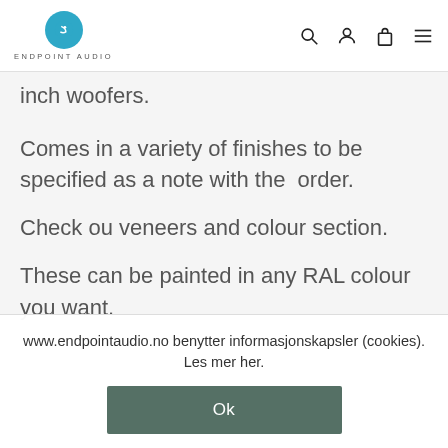ENDPOINT AUDIO
inch woofers.
Comes in a variety of finishes to be specified as a note with the order.
Check ou veneers and colour section.
These can be painted in any RAL colour you want.
www.endpointaudio.no benytter informasjonskapsler (cookies). Les mer her.